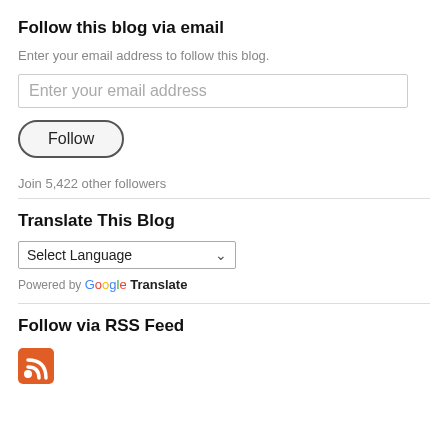Follow this blog via email
Enter your email address to follow this blog.
Enter your email address
Follow
Join 5,422 other followers
Translate This Blog
Select Language
Powered by Google Translate
Follow via RSS Feed